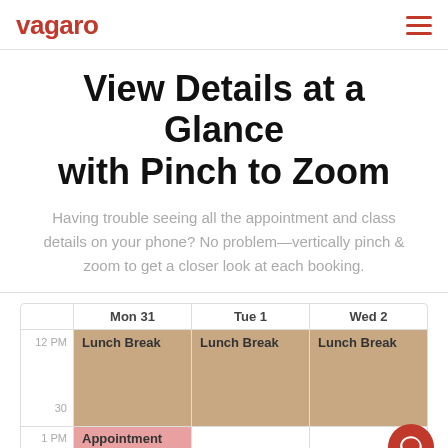vagaro
View Details at a Glance with Pinch to Zoom
Having trouble seeing all the appointment and class details on your phone? No problem—vertically pinch & zoom to get a closer look at each booking.
[Figure (screenshot): Calendar view showing Mon 31, Tue 1, Wed 2 columns with 12 PM time label, Lunch Break blocks in tan/beige color across all three days, a 30-minute marker, and the beginning of an Appointment block at 1 PM on Mon 31. A red chat button appears in the bottom right.]